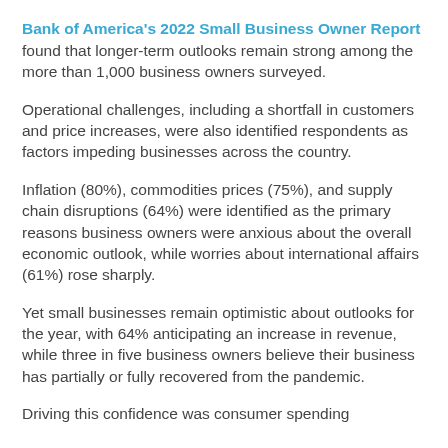Bank of America's 2022 Small Business Owner Report found that longer-term outlooks remain strong among the more than 1,000 business owners surveyed.
Operational challenges, including a shortfall in customers and price increases, were also identified respondents as factors impeding businesses across the country.
Inflation (80%), commodities prices (75%), and supply chain disruptions (64%) were identified as the primary reasons business owners were anxious about the overall economic outlook, while worries about international affairs (61%) rose sharply.
Yet small businesses remain optimistic about outlooks for the year, with 64% anticipating an increase in revenue, while three in five business owners believe their business has partially or fully recovered from the pandemic.
Driving this confidence was consumer spending